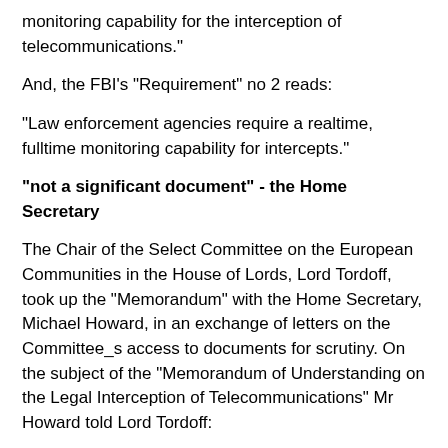monitoring capability for the interception of telecommunications."
And, the FBI's "Requirement" no 2 reads:
"Law enforcement agencies require a realtime, fulltime monitoring capability for intercepts."
"not a significant document" - the Home Secretary
The Chair of the Select Committee on the European Communities in the House of Lords, Lord Tordoff, took up the "Memorandum" with the Home Secretary, Michael Howard, in an exchange of letters on the Committee_s access to documents for scrutiny. On the subject of the "Memorandum of Understanding on the Legal Interception of Telecommunications" Mr Howard told Lord Tordoff:
"The Memorandum of Understanding is a set of practical guidelines to third countries on the lawful interception of telecommunications. It is not a significant document and does not, therefore, appear to meet the criteria for Parliamentary